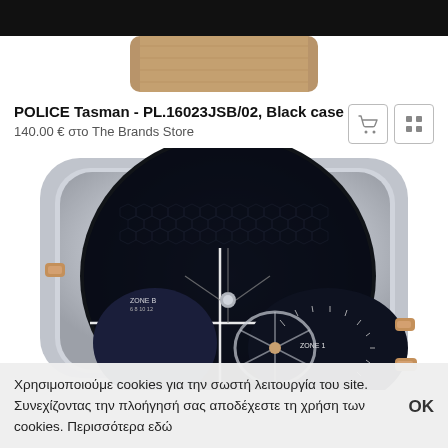[Figure (photo): Top portion of a brown leather watch strap on white background]
POLICE Tasman - PL.16023JSB/02, Black case
140.00 € στο The Brands Store
[Figure (photo): Close-up of a POLICE Tasman watch with silver case, black honeycomb dial, rose gold crown and pushers, Zone 1 and Zone 2 sub-dials]
Χρησιμοποιούμε cookies για την σωστή λειτουργία του site. Συνεχίζοντας την πλοήγησή σας αποδέχεστε τη χρήση των cookies. Περισσότερα εδώ